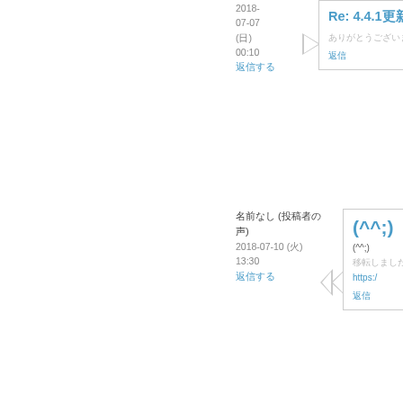2018-07-07 (日) 00:10
返信する
Re: 4.4.1更新内容
ありがとうございます(˘ω˘)
返信
名前なし (投稿者の声)
2018-07-10 (火) 13:30
返信する
(^^;)
(^^;)
移転しました
https:/
返信
名前なし
2018-07-10 (火) 19:48
返信する
Re: (^^;)
ありがとうございます 移転先に
返信
名前なし (投稿者の声)